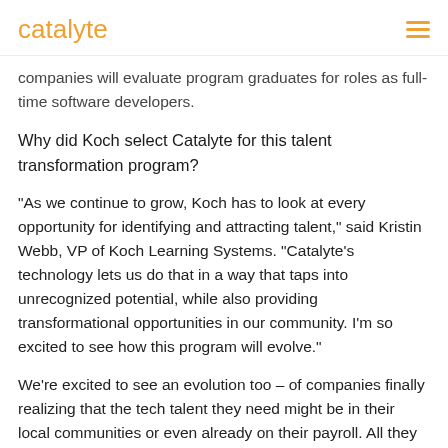catalyte
companies will evaluate program graduates for roles as full-time software developers.
Why did Koch select Catalyte for this talent transformation program?
“As we continue to grow, Koch has to look at every opportunity for identifying and attracting talent,” said Kristin Webb, VP of Koch Learning Systems. “Catalyte’s technology lets us do that in a way that taps into unrecognized potential, while also providing transformational opportunities in our community. I’m so excited to see how this program will evolve.”
We’re excited to see an evolution too – of companies finally realizing that the tech talent they need might be in their local communities or even already on their payroll. All they need